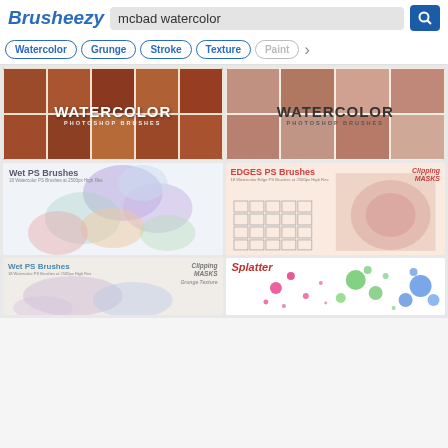Brusheezy
mcbad watercolor
Watercolor
Grunge
Stroke
Texture
Paint
[Figure (screenshot): Watercolor Photoshop Brushes thumbnail grid - reddish brown watercolor textures with WATERCOLOR PHOTOSHOP BRUSHES text overlay]
[Figure (screenshot): Watercolor Photoshop Brushes thumbnail grid - second variant with similar reddish textures]
[Figure (screenshot): Wet PS Brushes - colorful pastel watercolor splashes on white background]
[Figure (screenshot): EDGES PS Brushes with Clipping Masks label - pastel edge brush samples with grid]
[Figure (screenshot): Wet PS Brushes with Clipping Masks and Grunge Texture - partial view, pastel watercolor blobs]
[Figure (screenshot): Splatter - colorful paint splatter dots in pink, green, blue on white background]